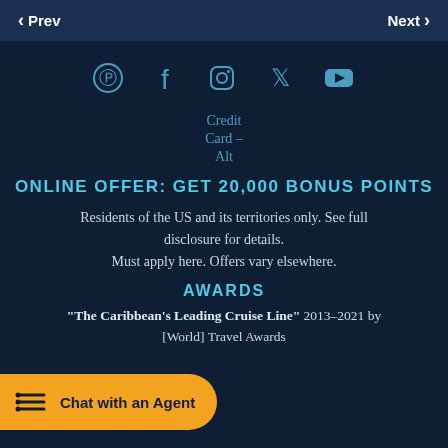Prev   Next
[Figure (infographic): Social media icons row: Pinterest, Facebook, Instagram, Twitter, YouTube]
[Figure (illustration): Credit Card image with alt text 'Credit Card - Alt']
ONLINE OFFER: GET 20,000 BONUS POINTS
Residents of the US and its territories only. See full disclosure for details. Must apply here. Offers vary elsewhere.
AWARDS
"The Caribbean's Leading Cruise Line" 2013–2021 by [World] Travel Awards